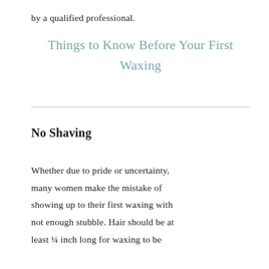by a qualified professional.
Things to Know Before Your First Waxing
No Shaving
Whether due to pride or uncertainty, many women make the mistake of showing up to their first waxing with not enough stubble. Hair should be at least ¼ inch long for waxing to be